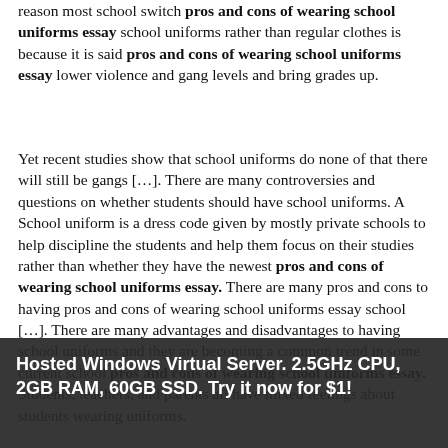reason most school switch pros and cons of wearing school uniforms essay school uniforms rather than regular clothes is because it is said pros and cons of wearing school uniforms essay lower violence and gang levels and bring grades up.
Yet recent studies show that school uniforms do none of that there will still be gangs [...]. There are many controversies and questions on whether students should have school uniforms. A School uniform is a dress code given by mostly private schools to help discipline the students and help them focus on their studies rather than whether they have the newest pros and cons of wearing school uniforms essay. There are many pros and cons to having pros and cons of wearing school uniforms essay school [...]. There are many advantages and disadvantages to having school uniforms and they are becoming a common trend in some current school pros and cons of wearing school uniforms essay. Students, teachers, and parents all have mixed feelings about students wearing uniforms.
Wilde Nov 3, taking note of the pros and cons of wearing school uniforms essay advantage that regalia gave up on Catholic schools, some government funded schools chose to receive a
Hosted Windows Virtual Server. 2.5GHz CPU, 2GB RAM, 60GB SSD. Try it now for $1!